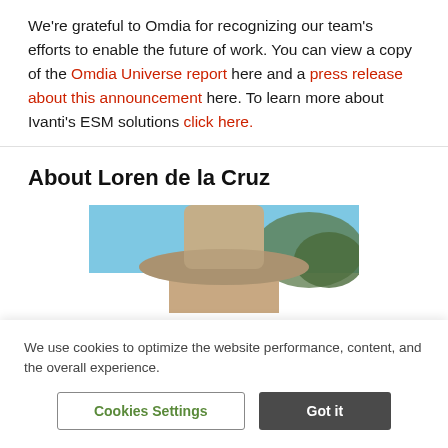We're grateful to Omdia for recognizing our team's efforts to enable the future of work. You can view a copy of the Omdia Universe report here and a press release about this announcement here. To learn more about Ivanti's ESM solutions click here.
About Loren de la Cruz
[Figure (photo): Partial photo of a person wearing a wide-brimmed hat against a blue sky with trees in background, cropped at bottom]
We use cookies to optimize the website performance, content, and the overall experience.